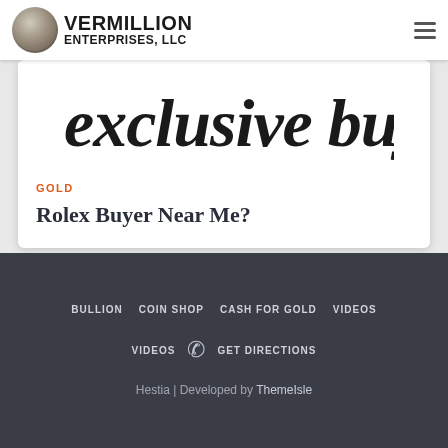VERMILLION ENTERPRISES, LLC
[Figure (screenshot): Partial banner image showing stylized handwritten text 'exclusive buyer' on white background]
GOLD
Rolex Buyer Near Me?
BULLION  COIN SHOP  CASH FOR GOLD  VIDEOS  VIDEOS  GET DIRECTIONS  Hestia | Developed by ThemeIsle